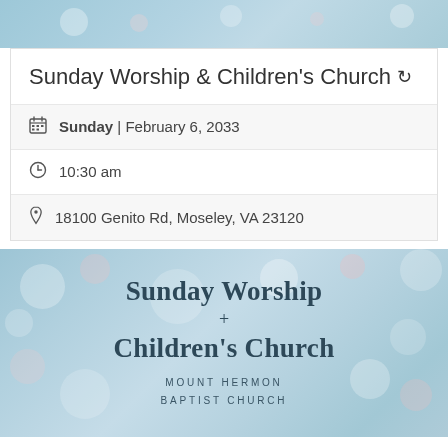[Figure (photo): Blurred bokeh background in soft blue tones, top banner image]
Sunday Worship & Children's Church 🔄
Sunday | February 6, 2033
10:30 am
18100 Genito Rd, Moseley, VA 23120
[Figure (photo): Bokeh light background with text overlay: Sunday Worship + Children's Church, Mount Hermon Baptist Church]